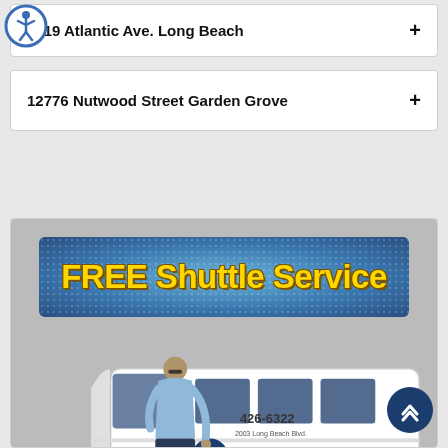[Figure (logo): Accessibility icon — circular blue border with human figure]
3619 Atlantic Ave. Long Beach +
12776 Nutwood Street Garden Grove +
[Figure (photo): FREE Shuttle Service banner with a man standing next to a white shuttle van branded with Crisco's logo and phone number 426-6322, 2003 Long Beach Blvd.]